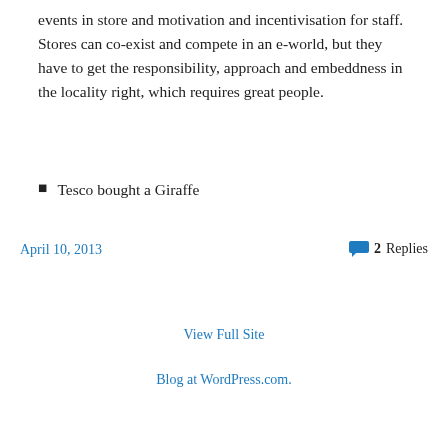events in store and motivation and incentivisation for staff.  Stores can co-exist and compete in an e-world, but they have to get the responsibility, approach and embeddness in the locality right, which requires great people.
Tesco bought a Giraffe
April 10, 2013
2 Replies
View Full Site
Blog at WordPress.com.